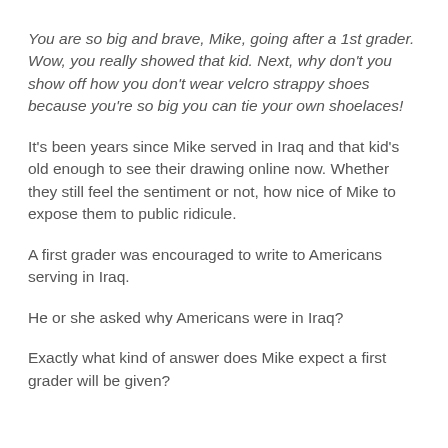You are so big and brave, Mike, going after a 1st grader.  Wow, you really showed that kid.  Next, why don't you show off how you don't wear velcro strappy shoes because you're so big you can tie your own shoelaces!
It's been years since Mike served in Iraq and that kid's old enough to see their drawing online now.  Whether they still feel the sentiment or not, how nice of Mike to expose them to public ridicule.
A first grader was encouraged to write to Americans serving in Iraq.
He or she asked why Americans were in Iraq?
Exactly what kind of answer does Mike expect a first grader will be given?